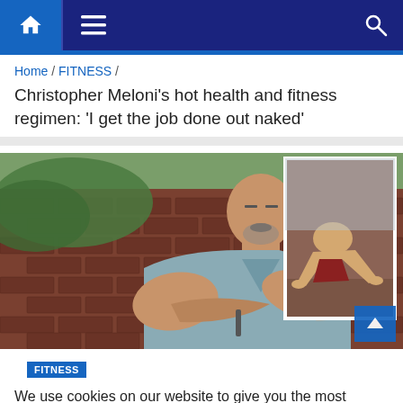Navigation bar with home icon, menu icon, and search icon
Home / FITNESS /
Christopher Meloni's hot health and fitness regimen: 'I get the job done out naked'
[Figure (photo): Christopher Meloni standing with arms crossed wearing a sleeveless gray hoodie in front of a brick wall with greenery, with an inset photo showing a muscular shirtless person doing a push-up exercise]
FITNESS
We use cookies on our website to give you the most